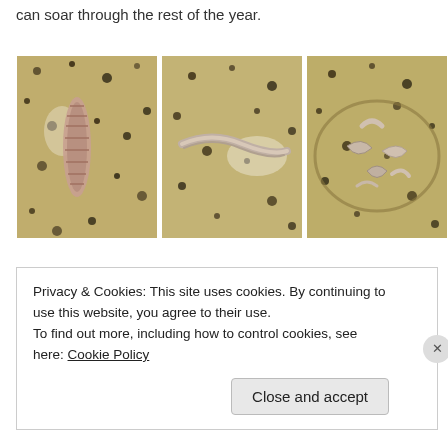can soar through the rest of the year.
[Figure (photo): Three photos of spiral seashells on a granite/stone surface. Left photo shows a single intact spiral shell standing upright. Middle photo shows a broken/crushed spiral shell lying flat. Right photo shows multiple broken shell fragments scattered on the surface.]
Privacy & Cookies: This site uses cookies. By continuing to use this website, you agree to their use.
To find out more, including how to control cookies, see here: Cookie Policy
Close and accept